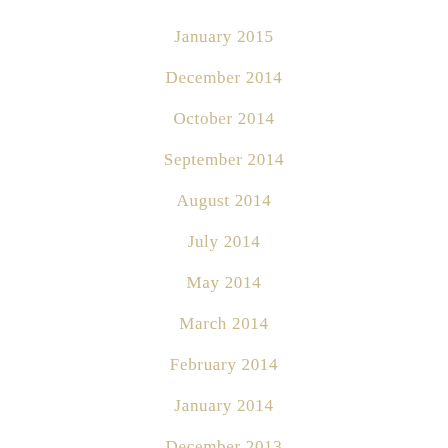January 2015
December 2014
October 2014
September 2014
August 2014
July 2014
May 2014
March 2014
February 2014
January 2014
December 2013